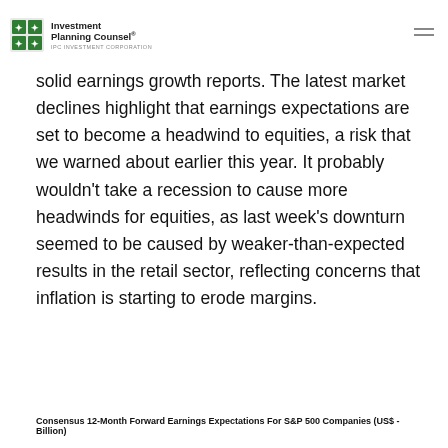Investment Planning Counsel® IPC INVESTMENT CORPORATION
solid earnings growth reports. The latest market declines highlight that earnings expectations are set to become a headwind to equities, a risk that we warned about earlier this year. It probably wouldn't take a recession to cause more headwinds for equities, as last week's downturn seemed to be caused by weaker-than-expected results in the retail sector, reflecting concerns that inflation is starting to erode margins.
Consensus 12-Month Forward Earnings Expectations For S&P 500 Companies (US$ - Billion)